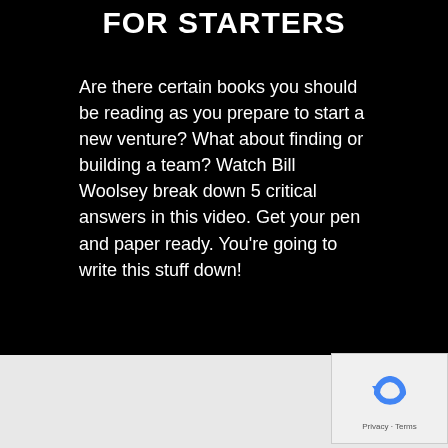FOR STARTERS
Are there certain books you should be reading as you prepare to start a new venture? What about finding or building a team? Watch Bill Woolsey break down 5 critical answers in this video. Get your pen and paper ready. You're going to write this stuff down!
[Figure (logo): reCAPTCHA logo with Privacy and Terms text]